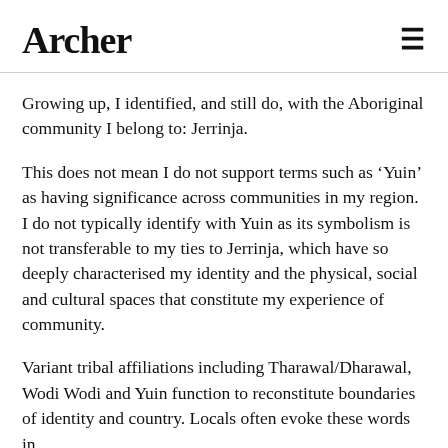Archer
Growing up, I identified, and still do, with the Aboriginal community I belong to: Jerrinja.
This does not mean I do not support terms such as ‘Yuin’ as having significance across communities in my region. I do not typically identify with Yuin as its symbolism is not transferable to my ties to Jerrinja, which have so deeply characterised my identity and the physical, social and cultural spaces that constitute my experience of community.
Variant tribal affiliations including Tharawal/Dharawal, Wodi Wodi and Yuin function to reconstitute boundaries of identity and country. Locals often evoke these words in